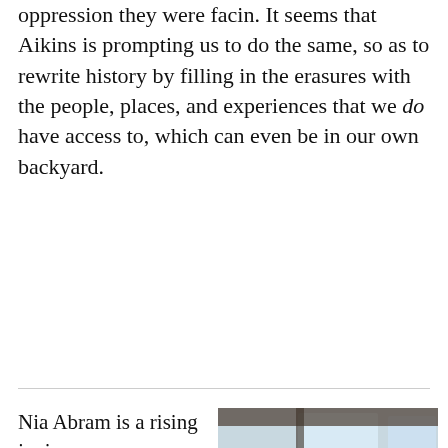oppression they were facin. It seems that Aikins is prompting us to do the same, so as to rewrite history by filling in the erasures with the people, places, and experiences that we do have access to, which can even be in our own backyard.
Nia Abram is a rising junior, an Environmental Science major, and an avid dancer at Colorado College. She has lived in central
[Figure (photo): Photo of a young woman with glasses wearing denim overalls and a floral shirt, seated, smiling at the camera. Another person is partially visible to her left.]